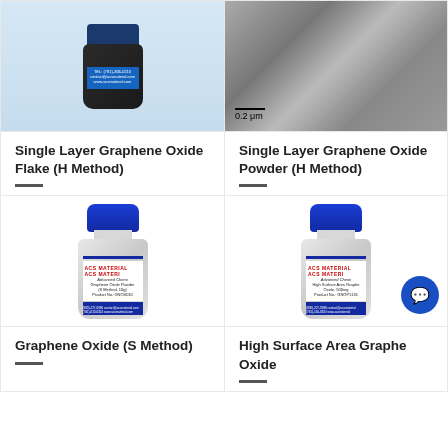[Figure (photo): ACS Material product jar with dark colored material (graphene oxide flake), blue label, on light blue background]
[Figure (photo): Electron microscopy image of graphene oxide powder showing nanostructure at 0.2 μm scale bar]
Single Layer Graphene Oxide Flake (H Method)
Single Layer Graphene Oxide Powder (H Method)
[Figure (photo): ACS Material bottle labeled Graphene Oxide Powder (S Method, 10g), product No. GNOS010]
[Figure (photo): ACS Material bottle labeled High Surface Area Graphene Oxide, 500mg, product No. GNOP1131]
Graphene Oxide (S Method)
High Surface Area Graphene Oxide